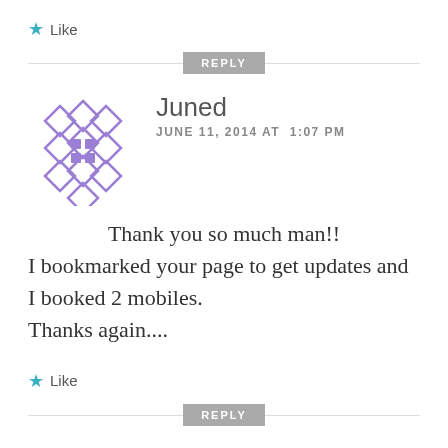★ Like
REPLY
[Figure (illustration): Purple geometric avatar icon made of diamond shapes arranged in a circular pattern]
Juned
JUNE 11, 2014 AT 1:07 PM
Thank you so much man!! I bookmarked your page to get updates and I booked 2 mobiles. Thanks again....
★ Like
REPLY